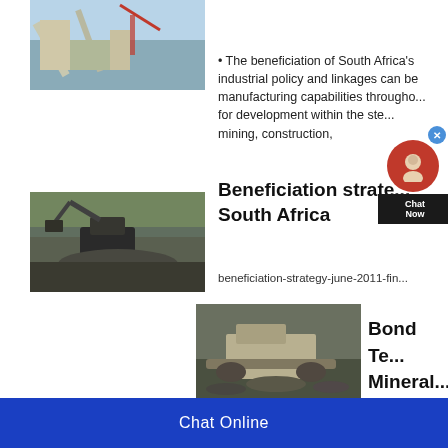[Figure (photo): Mining plant facility with conveyor belts and industrial equipment against a blue sky]
• The beneficiation of South Africa's industrial policy and linkages can be manufacturing capabilities througho... for development within the ste... mining, construction,
[Figure (photo): Excavator working at a mining site with rubble and debris]
Beneficiation strate... South Africa
beneficiation-strategy-june-2011-fin...
[Figure (photo): Rock crushing machine at a quarry or mining site]
Bond Te... Mineral...
Chat Online